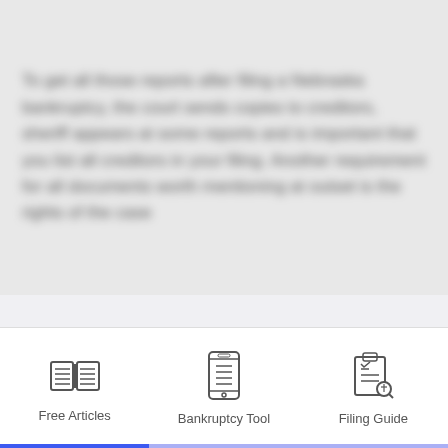[Blurred/obscured text about filing a Nebraska bankruptcy — creditors, exempt property, means test, filing requirements, documents needed at the outset of the case]
Considering bankruptcy? We have a free tool to help you!
Go to Free Bankruptcy Tool
Keep Reading
[Figure (illustration): Open book icon above label 'Free Articles']
Free Articles
[Figure (illustration): Smartphone with lines icon above label 'Bankruptcy Tool']
Bankruptcy Tool
[Figure (illustration): Clipboard with checklist and magnifying glass icon above label 'Filing Guide']
Filing Guide